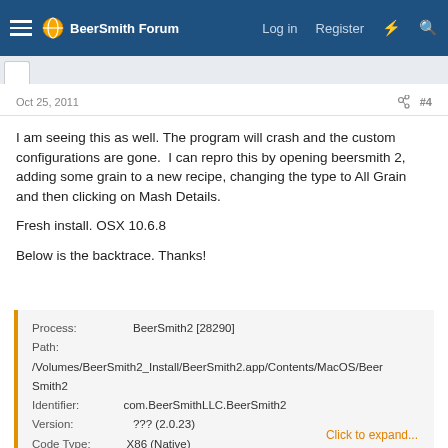BeerSmith Forum | Log in | Register
Oct 25, 2011 #4
I am seeing this as well. The program will crash and the custom configurations are gone.  I can repro this by opening beersmith 2, adding some grain to a new recipe, changing the type to All Grain and then clicking on Mash Details.

Fresh install. OSX 10.6.8

Below is the backtrace. Thanks!
Process:     BeerSmith2 [28290]
Path:        /Volumes/BeerSmith2_Install/BeerSmith2.app/Contents/MacOS/BeerSmith2
Identifier:  com.BeerSmithLLC.BeerSmith2
Version:     ??? (2.0.23)
Code Type:   X86 (Native)
Parent Process:  launchd [202]
Click to expand...